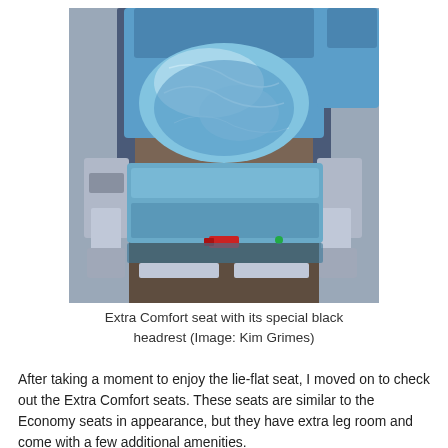[Figure (photo): Overhead view of an airline Extra Comfort seat with blue upholstery and a pillow/blanket in plastic wrapping on the seat, with blue armrests and silver seat structure visible.]
Extra Comfort seat with its special black headrest (Image: Kim Grimes)
After taking a moment to enjoy the lie-flat seat, I moved on to check out the Extra Comfort seats. These seats are similar to the Economy seats in appearance, but they have extra leg room and come with a few additional amenities.